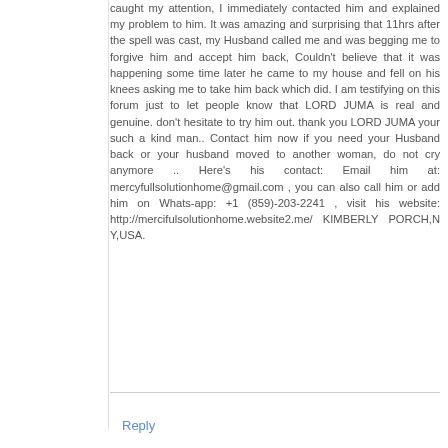caught my attention, I immediately contacted him and explained my problem to him. It was amazing and surprising that 11hrs after the spell was cast, my Husband called me and was begging me to forgive him and accept him back, Couldn't believe that it was happening some time later he came to my house and fell on his knees asking me to take him back which did. I am testifying on this forum just to let people know that LORD JUMA is real and genuine. don't hesitate to try him out. thank you LORD JUMA your such a kind man.. Contact him now if you need your Husband back or your husband moved to another woman, do not cry anymore .. Here's his contact: Email him at: mercyfullsolutionhome@gmail.com , you can also call him or add him on Whats-app: +1 (859)-203-2241 , visit his website: http://mercifulsolutionhome.website2.me/ KIMBERLY PORCH,N Y,USA.
Reply